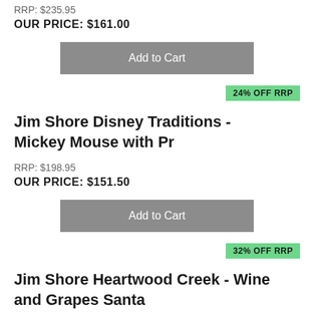RRP: $235.95
OUR PRICE: $161.00
Add to Cart
24% OFF RRP
Jim Shore Disney Traditions - Mickey Mouse with Pr
RRP: $198.95
OUR PRICE: $151.50
Add to Cart
32% OFF RRP
Jim Shore Heartwood Creek - Wine and Grapes Santa
RRP: $235.95
OUR PRICE: $161.00